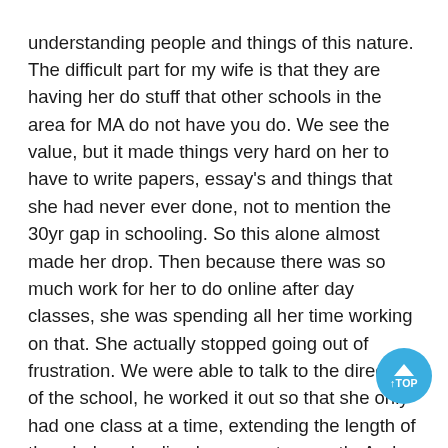understanding people and things of this nature. The difficult part for my wife is that they are having her do stuff that other schools in the area for MA do not have you do. We see the value, but it made things very hard on her to have to write papers, essay's and things that she had never ever done, not to mention the 30yr gap in schooling. So this alone almost made her drop. Then because there was so much work for her to do online after day classes, she was spending all her time working on that. She actually stopped going out of frustration. We were able to talk to the director of the school, he worked it out so that she only had one class at a time, extending the length of the whole schooling by one extra month. And my wife was given time to sit down with her instructor to come up with a plan that helped her to be successful. But that's all it took, she is now in the second half of her second month and doing great. The staff is very helpful and willing to make her successful. Yes they